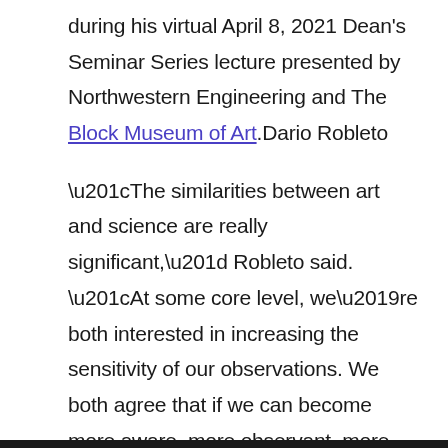during his virtual April 8, 2021 Dean's Seminar Series lecture presented by Northwestern Engineering and The Block Museum of Art.Dario Robleto
“The similarities between art and science are really significant,” Robleto said. “At some core level, we’re both interested in increasing the sensitivity of our observations. We both agree that if we can become more aware, more observant, more detailed, and more importantly, more present with each other, that this can lead to new types of discoveries and forms of truth.”